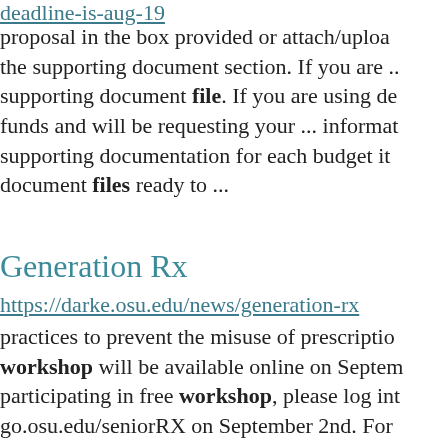deadline-is-aug-19
proposal in the box provided or attach/upload the supporting document section. If you are ... supporting document file. If you are using de... funds and will be requesting your ... information supporting documentation for each budget it... document files ready to ...
Generation Rx
https://darke.osu.edu/news/generation-rx
practices to prevent the misuse of prescription... workshop will be available online on September... participating in free workshop, please log into go.osu.edu/seniorRX on September 2nd. For information on this Generation RX workshop